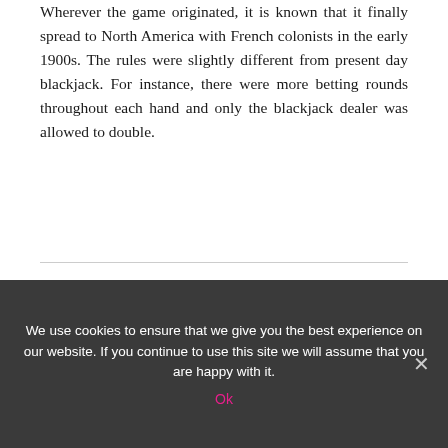Wherever the game originated, it is known that it finally spread to North America with French colonists in the early 1900s. The rules were slightly different from present day blackjack. For instance, there were more betting rounds throughout each hand and only the blackjack dealer was allowed to double.
Leave a Reply
We use cookies to ensure that we give you the best experience on our website. If you continue to use this site we will assume that you are happy with it.
Ok